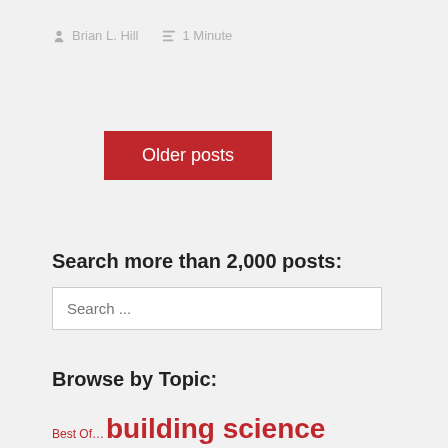Brian L. Hill   1 Minute
Older posts
Search more than 2,000 posts:
Search ...
Browse by Topic:
Best Of… building science business business